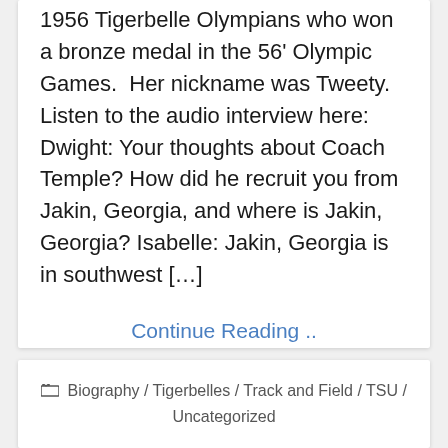1956 Tigerbelle Olympians who won a bronze medal in the 56' Olympic Games.  Her nickname was Tweety. Listen to the audio interview here: Dwight: Your thoughts about Coach Temple? How did he recruit you from Jakin, Georgia, and where is Jakin, Georgia? Isabelle: Jakin, Georgia is in southwest […]
Continue Reading ..
Biography / Tigerbelles / Track and Field / TSU / Uncategorized